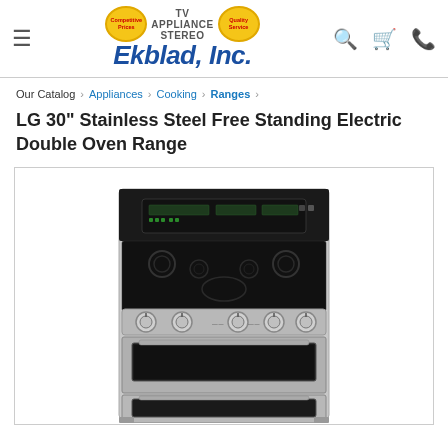[Figure (logo): Ekblad Inc. TV Appliance Stereo logo with yellow badge icons for Competitive Prices and Quality Service]
Our Catalog › Appliances › Cooking › Ranges ›
LG 30" Stainless Steel Free Standing Electric Double Oven Range
[Figure (photo): LG 30 inch stainless steel free standing electric double oven range product photo showing the stove with black glass cooktop, five burners, control knobs, and double oven with glass window doors]